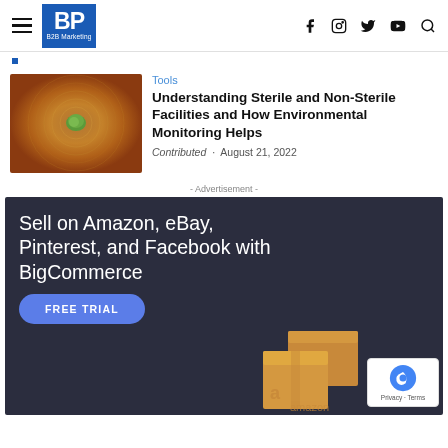BP B2B Marketing — navigation with hamburger menu and social icons
[Figure (screenshot): Article thumbnail: aerial view of a lone green tree in a dry circular pattern on orange/brown ground]
Tools
Understanding Sterile and Non-Sterile Facilities and How Environmental Monitoring Helps
Contributed · August 21, 2022
- Advertisement -
[Figure (infographic): BigCommerce advertisement banner with dark background. Text: Sell on Amazon, eBay, Pinterest, and Facebook with BigCommerce. Blue FREE TRIAL button. Amazon boxes displayed on right side. reCAPTCHA badge in bottom right corner.]